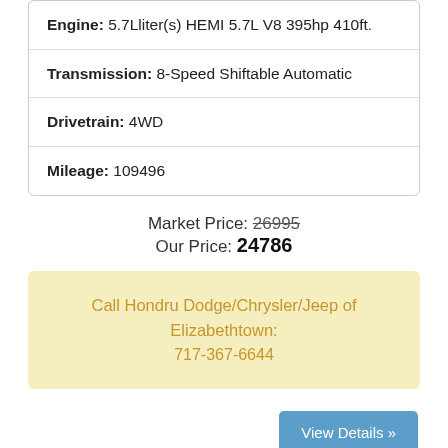| Engine: 5.7Lliter(s) HEMI 5.7L V8 395hp 410ft. |
| Transmission: 8-Speed Shiftable Automatic |
| Drivetrain: 4WD |
| Mileage: 109496 |
Market Price: 26995
Our Price: 24786
Call Hondru Dodge/Chrysler/Jeep of Elizabethtown:
717-367-6644
View Details »